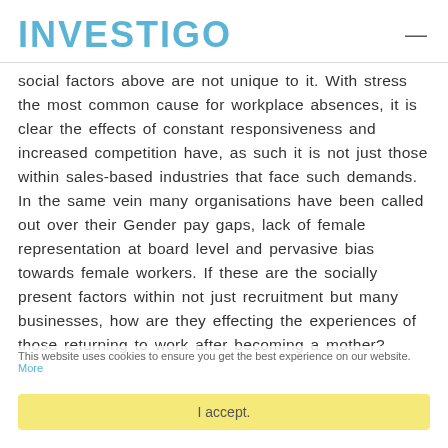INVESTIGO
social factors above are not unique to it. With stress the most common cause for workplace absences, it is clear the effects of constant responsiveness and increased competition have, as such it is not just those within sales-based industries that face such demands. In the same vein many organisations have been called out over their Gender pay gaps, lack of female representation at board level and pervasive bias towards female workers. If these are the socially present factors within not just recruitment but many businesses, how are they effecting the experiences of those returning to work after becoming a mother?
This website uses cookies to ensure you get the best experience on our website. More
I accept.